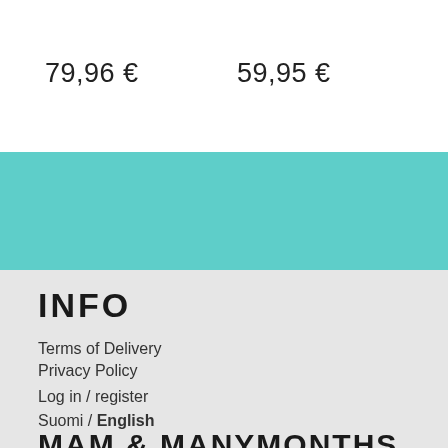79,96 €
59,95 €
INFO
Terms of Delivery
Privacy Policy
Log in / register
Suomi / English
MAM & MANYMONTHS